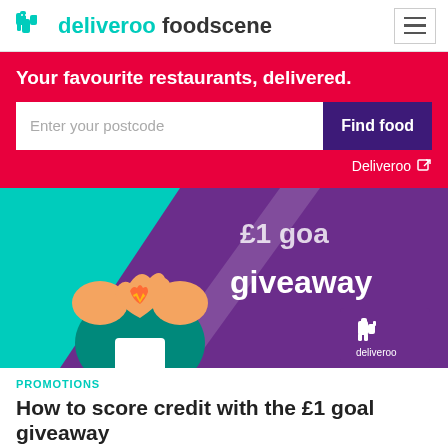deliveroo foodscene
Your favourite restaurants, delivered.
Enter your postcode  Find food
Deliveroo
[Figure (illustration): Promotional banner for '£1 goal giveaway' featuring a cartoon character making a heart sign with hands, teal and purple background, Deliveroo logo bottom right, text reads 'goal giveaway']
PROMOTIONS
How to score credit with the £1 goal giveaway